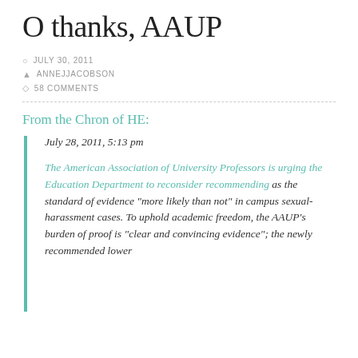O thanks, AAUP
JULY 30, 2011
ANNEJJACOBSON
58 COMMENTS
From the Chron of HE:
July 28, 2011, 5:13 pm
The American Association of University Professors is urging the Education Department to reconsider recommending as the standard of evidence “more likely than not” in campus sexual-harassment cases. To uphold academic freedom, the AAUP’s burden of proof is “clear and convincing evidence”; the newly recommended lower